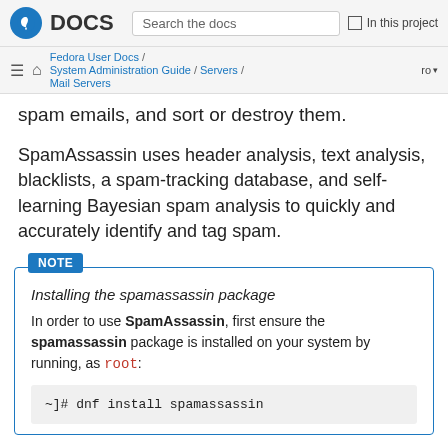Fedora DOCS — Search the docs — In this project
Fedora User Docs / System Administration Guide / Servers / Mail Servers — ro
spam emails, and sort or destroy them.
SpamAssassin uses header analysis, text analysis, blacklists, a spam-tracking database, and self-learning Bayesian spam analysis to quickly and accurately identify and tag spam.
NOTE — Installing the spamassassin package
In order to use SpamAssassin, first ensure the spamassassin package is installed on your system by running, as root:
~]# dnf install spamassassin